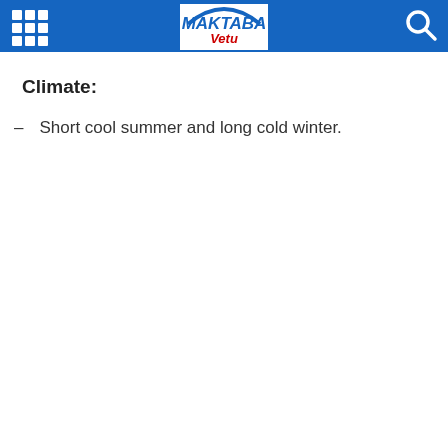Maktaba Yetu header with grid menu icon and search icon
Climate:
Short cool summer and long cold winter.